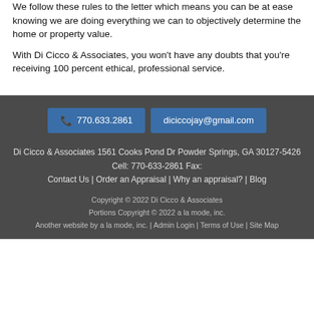We follow these rules to the letter which means you can be at ease knowing we are doing everything we can to objectively determine the home or property value.
With Di Cicco & Associates, you won't have any doubts that you're receiving 100 percent ethical, professional service.
770.633.2861 | diciccojay@gmail.com
Di Cicco & Associates 1561 Cooks Pond Dr Powder Springs, GA 30127-5426
Cell: 770-633-2861 Fax:
Contact Us | Order an Appraisal | Why an appraisal? | Blog
Copyright © 2022 Di Cicco & Associates
Portions Copyright © 2022 a la mode, inc.
Another website by a la mode, inc. | Admin Login | Terms of Use | Site Map